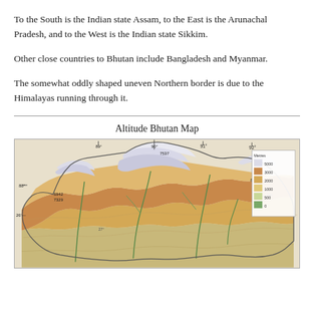To the South is the Indian state Assam, to the East is the Arunachal Pradesh, and to the West is the Indian state Sikkim.
Other close countries to Bhutan include Bangladesh and Myanmar.
The somewhat oddly shaped uneven Northern border is due to the Himalayas running through it.
Altitude Bhutan Map
[Figure (map): Altitude/topographic map of Bhutan showing elevation ranges with color coding. Legend shows elevation bands: 5000, 3000, 2000, 1000, 500, 0 metres. Geographic coordinates visible: 88°, 89°, 90°, 91°, 92° longitude; 27°, 28° latitude. Elevation points labeled: 7537, 8415, 6942, 7329. Rivers and valleys visible as green lines through the terrain.]